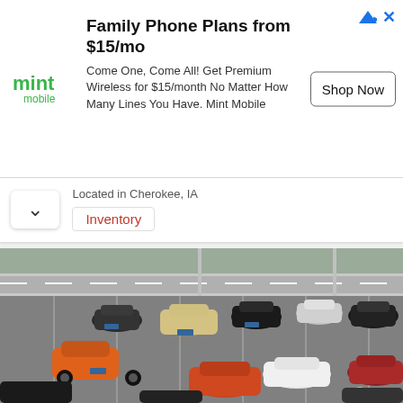[Figure (infographic): Mint Mobile advertisement banner with logo, heading 'Family Phone Plans from $15/mo', body text, and Shop Now button]
Located in Cherokee, IA
Inventory
[Figure (photo): Aerial view of a used car dealership lot showing multiple cars parked, including an orange muscle car, a beige Chrysler 300, black sedans, and other vehicles in rows on a paved lot]